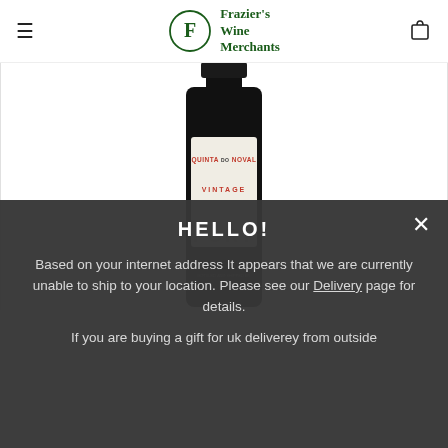Frazier's Wine Merchants
[Figure (photo): Bottle of Quinta do Noval Vintage Port wine with black label showing 'QUINTA DO NOVAL VINTAGE PORT' text]
HELLO!
Based on your internet address It appears that we are currently unable to ship to your location. Please see our Delivery page for details.
If you are buying a gift for uk deliverey from outside